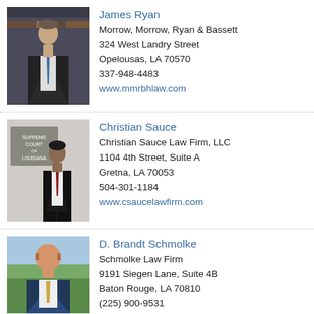[Figure (photo): Professional headshot of James Ryan in a suit with blue tie, in front of bookshelves]
James Ryan
Morrow, Morrow, Ryan & Bassett
324 West Landry Street
Opelousas, LA 70570
337-948-4483
www.mmrbhlaw.com
[Figure (photo): Photo of Christian Sauce in a suit standing in front of the Supreme Court of Louisiana sign]
Christian Sauce
Christian Sauce Law Firm, LLC
1104 4th Street, Suite A
Gretna, LA 70053
504-301-1184
www.csaucelawfirm.com
[Figure (photo): Professional photo of D. Brandt Schmolke in a blue suit, smiling outdoors]
D. Brandt Schmolke
Schmolke Law Firm
9191 Siegen Lane, Suite 4B
Baton Rouge, LA 70810
(225) 900-9531